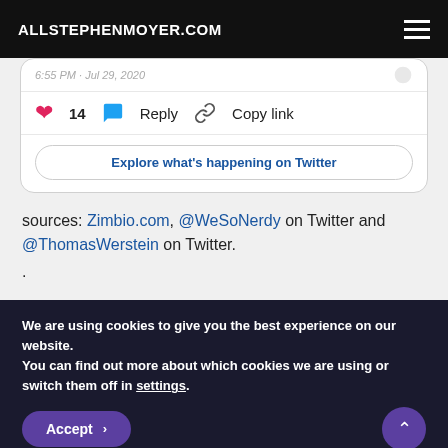ALLSTEPHENMOYER.COM
[Figure (screenshot): Embedded tweet card showing 14 likes, Reply, Copy link buttons, and an 'Explore what's happening on Twitter' button]
sources: Zimbio.com, @WeSoNerdy on Twitter and @ThomasWerstein on Twitter.
.
We are using cookies to give you the best experience on our website.
You can find out more about which cookies we are using or switch them off in settings.